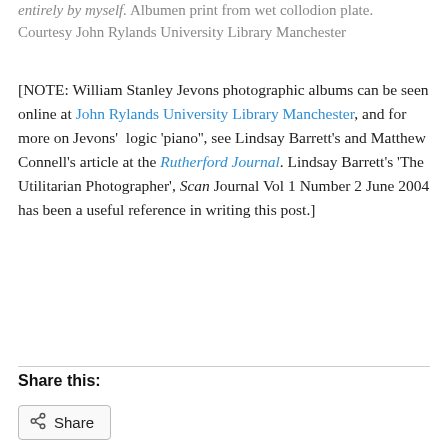entirely by myself. Albumen print from wet collodion plate. Courtesy John Rylands University Library Manchester
[NOTE: William Stanley Jevons photographic albums can be seen online at John Rylands University Library Manchester, and for more on Jevons' logic 'piano'', see Lindsay Barrett's and Matthew Connell's article at the Rutherford Journal. Lindsay Barrett's 'The Utilitarian Photographer', Scan Journal Vol 1 Number 2 June 2004 has been a useful reference in writing this post.]
Share this:
Share